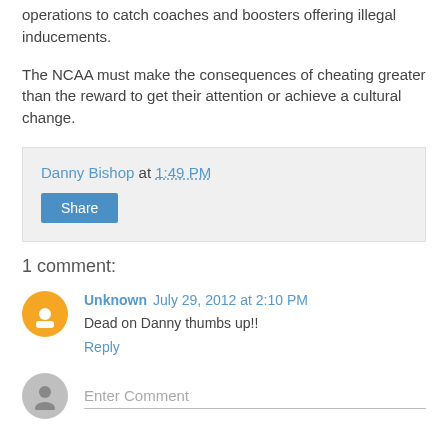operations to catch coaches and boosters offering illegal inducements.
The NCAA must make the consequences of cheating greater than the reward to get their attention or achieve a cultural change.
Danny Bishop at 1:49 PM
Share
1 comment:
Unknown July 29, 2012 at 2:10 PM
Dead on Danny thumbs up!!
Reply
Enter Comment